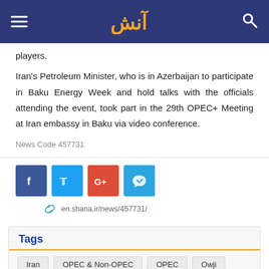Shana (shana.ir) — logo and navigation header
players.
Iran's Petroleum Minister, who is in Azerbaijan to participate in Baku Energy Week and hold talks with the officials attending the event, took part in the 29th OPEC+ Meeting at Iran embassy in Baku via video conference.
News Code 457731
en.shana.ir/news/457731/
Tags
Iran
OPEC & Non-OPEC
OPEC
Owji